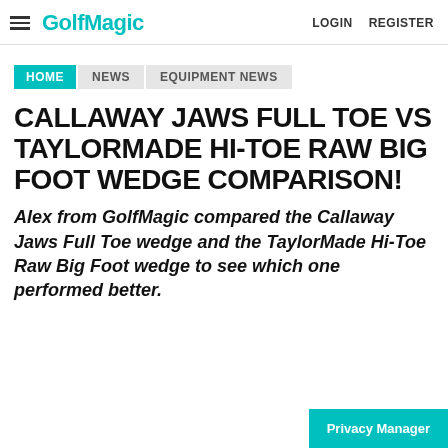GolfMagic | LOGIN | REGISTER
HOME | NEWS | EQUIPMENT NEWS
CALLAWAY JAWS FULL TOE VS TAYLORMADE HI-TOE RAW BIG FOOT WEDGE COMPARISON!
Alex from GolfMagic compared the Callaway Jaws Full Toe wedge and the TaylorMade Hi-Toe Raw Big Foot wedge to see which one performed better.